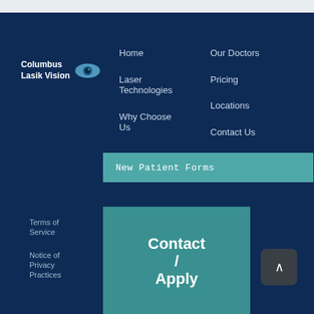[Figure (logo): Columbus Lasik Vision logo with eye icon]
Home
Laser Technologies
Why Choose Us
Our Doctors
Pricing
Locations
Contact Us
New Patient Forms
Terms of Service
Notice of Privacy Practices
[Figure (other): Contact / Apply button box in teal]